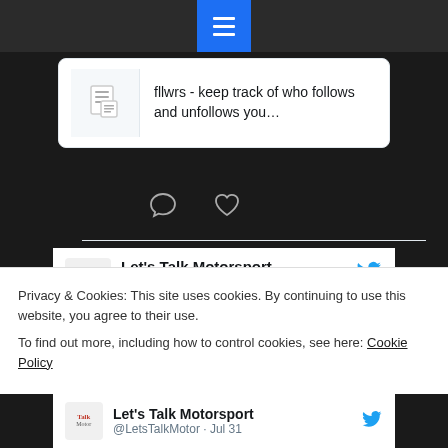[Figure (screenshot): Top navigation bar with hamburger menu button in blue]
fllwrs - keep track of who follows and unfollows you…
[Figure (screenshot): Comment and heart/like reaction icons row]
Let's Talk Motorsport @LetsTalkMotor · Aug 6
one person followed me // automatically checked by fllwrs.com
fllwrs.com
Privacy & Cookies: This site uses cookies. By continuing to use this website, you agree to their use.
To find out more, including how to control cookies, see here: Cookie Policy
Let's Talk Motorsport @LetsTalkMotor · Jul 31